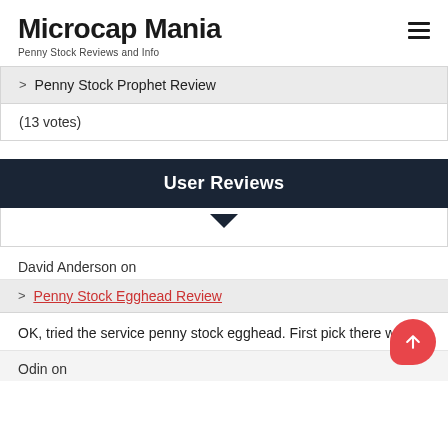Microcap Mania
Penny Stock Reviews and Info
> Penny Stock Prophet Review
(13 votes)
User Reviews
David Anderson on
> Penny Stock Egghead Review
OK, tried the service penny stock egghead. First pick there was a
Odin on